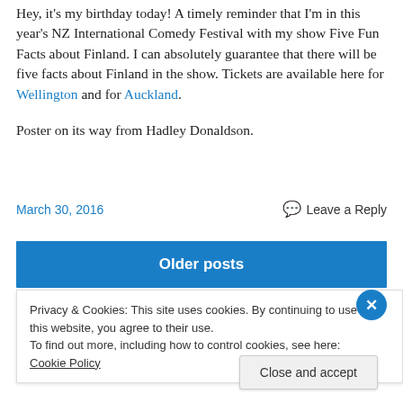Hey, it's my birthday today! A timely reminder that I'm in this year's NZ International Comedy Festival with my show Five Fun Facts about Finland. I can absolutely guarantee that there will be five facts about Finland in the show. Tickets are available here for Wellington and for Auckland.
Poster on its way from Hadley Donaldson.
March 30, 2016
Leave a Reply
Older posts
Privacy & Cookies: This site uses cookies. By continuing to use this website, you agree to their use.
To find out more, including how to control cookies, see here: Cookie Policy
Close and accept